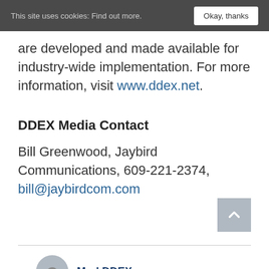This site uses cookies: Find out more. [Okay, thanks]
are developed and made available for industry-wide implementation. For more information, visit www.ddex.net.
DDEX Media Contact
Bill Greenwood, Jaybird Communications, 609-221-2374, bill@jaybirdcom.com
MarkDDEX